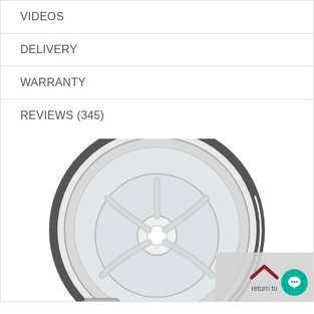VIDEOS
DELIVERY
WARRANTY
REVIEWS (345)
[Figure (photo): Top-down view of a washing machine drum interior showing the agitator/impeller, drum basket, and a detergent dispenser cap in the lower left. A 'return to top' overlay button appears in the lower right with a chat bubble icon.]